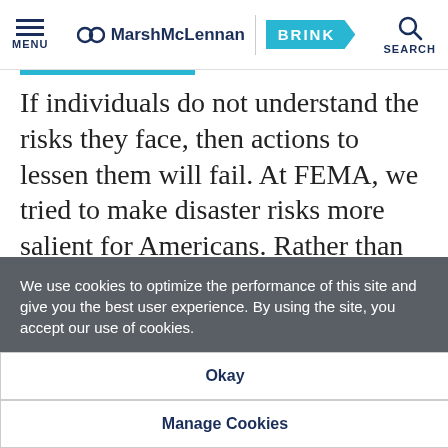MENU | MarshMcLennan BRINK | SEARCH
If individuals do not understand the risks they face, then actions to lessen them will fail. At FEMA, we tried to make disaster risks more salient for Americans. Rather than describing a high risk flood zone as a "1-in-a-100-year" flood, which some
We use cookies to optimize the performance of this site and give you the best user experience. By using the site, you accept our use of cookies.
Okay
Manage Cookies